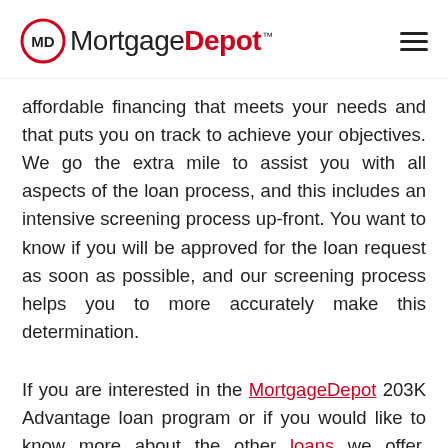MortgageDepot™
affordable financing that meets your needs and that puts you on track to achieve your objectives. We go the extra mile to assist you with all aspects of the loan process, and this includes an intensive screening process up-front. You want to know if you will be approved for the loan request as soon as possible, and our screening process helps you to more accurately make this determination.
If you are interested in the MortgageDepot 203K Advantage loan program or if you would like to know more about the other loans we offer, contact MortgageDepot today.